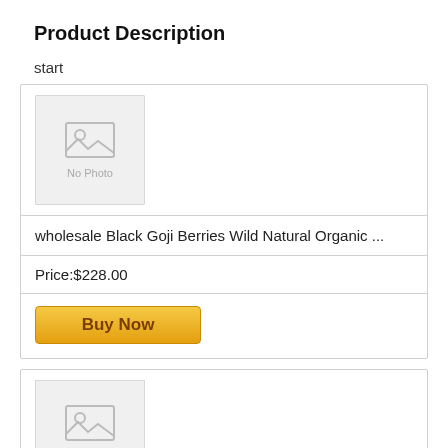Product Description
start
[Figure (screenshot): Product listing card showing a 'No Photo' placeholder image, product name 'wholesale Black Goji Berries Wild Natural Organic ...', price '$228.00', and a 'Buy Now' button]
[Figure (screenshot): Second product listing card showing a 'No Photo' placeholder image, partially visible]